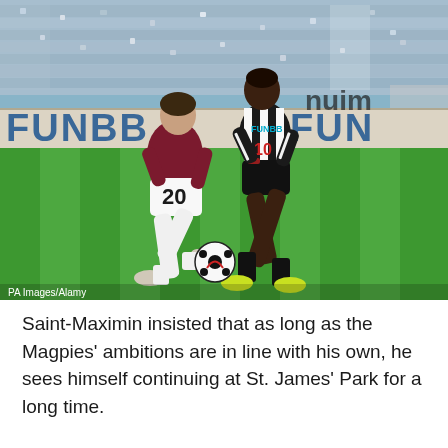[Figure (photo): Two football players competing for the ball on a pitch. One player in a claret and blue West Ham kit (number 20) and one in a black and white striped Newcastle United kit (number 10). A football is near their feet. Stadium advertising boards reading 'FUNB' and 'FUN' are visible in the background. Green pitch and stadium seating visible.]
PA Images/Alamy
Saint-Maximin insisted that as long as the Magpies' ambitions are in line with his own, he sees himself continuing at St. James' Park for a long time.